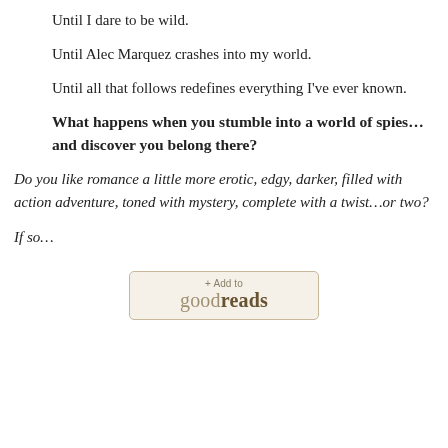Until I dare to be wild.
Until Alec Marquez crashes into my world.
Until all that follows redefines everything I've ever known.
What happens when you stumble into a world of spies…and discover you belong there?
Do you like romance a little more erotic, edgy, darker, filled with action adventure, toned with mystery, complete with a twist…or two?
If so…
[Figure (other): Goodreads '+Add to goodreads' button widget]